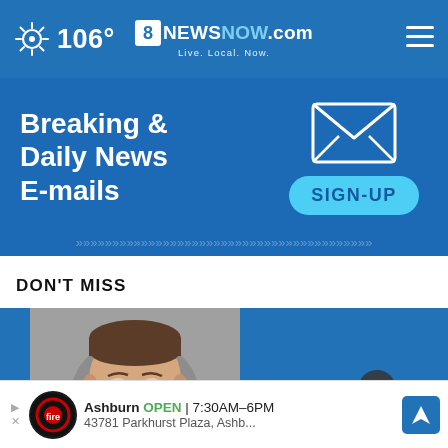106° | 8NewsNow.com Live. Local. Now.
[Figure (screenshot): Breaking & Daily News E-mails sign-up banner advertisement with envelope icon and cyan SIGN-UP button on dark blue background]
DON'T MISS
[Figure (photo): Mugshot photo of a young white male with short brown hair against gray background, shown as part of a news story card]
[Figure (infographic): Bottom banner ad: Ashburn Firestone auto store - OPEN 7:30AM-6PM, 43781 Parkhurst Plaza, Ashb... with navigation icon]